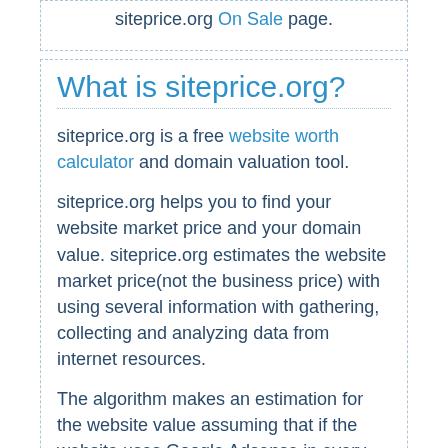siteprice.org On Sale page.
What is siteprice.org?
siteprice.org is a free website worth calculator and domain valuation tool.
siteprice.org helps you to find your website market price and your domain value. siteprice.org estimates the website market price(not the business price) with using several information with gathering, collecting and analyzing data from internet resources.
The algorithm makes an estimation for the website value assuming that if the website uses Google Adsense in every page and 3 ads in proper best locations. If you own this website and even if you are using Adsense and not